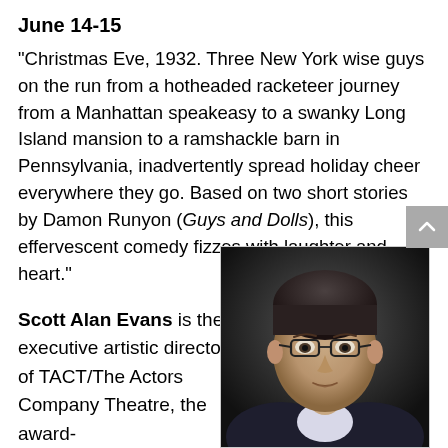June 14-15
“Christmas Eve, 1932. Three New York wise guys on the run from a hotheaded racketeer journey from a Manhattan speakeasy to a swanky Long Island mansion to a ramshackle barn in Pennsylvania, inadvertently spread holiday cheer everywhere they go. Based on two short stories by Damon Runyon (Guys and Dolls), this effervescent comedy fizzes with laughter and heart.”
Scott Alan Evans is the executive artistic director of TACT/The Actors Company Theatre, the award-
[Figure (photo): Headshot of Scott Alan Evans, a man wearing glasses and a dark jacket, against a dark background]